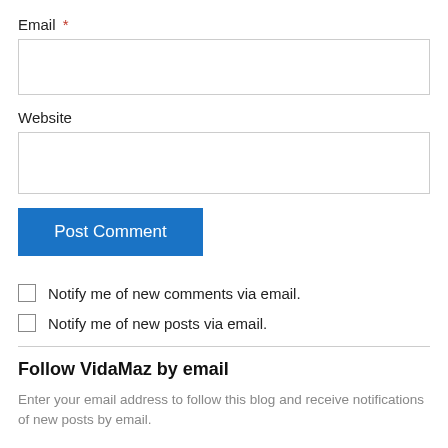Email *
Website
Post Comment
Notify me of new comments via email.
Notify me of new posts via email.
Follow VidaMaz by email
Enter your email address to follow this blog and receive notifications of new posts by email.